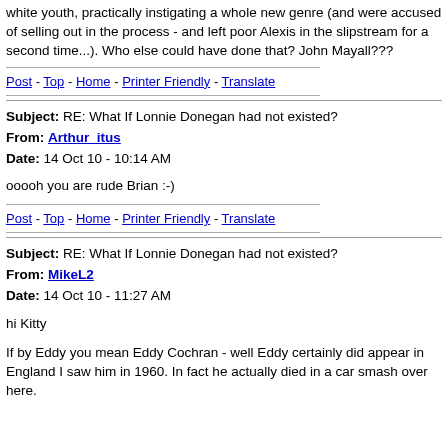white youth, practically instigating a whole new genre (and were accused of selling out in the process - and left poor Alexis in the slipstream for a second time...). Who else could have done that? John Mayall???
Post - Top - Home - Printer Friendly - Translate
Subject: RE: What If Lonnie Donegan had not existed?
From: Arthur_itus
Date: 14 Oct 10 - 10:14 AM
ooooh you are rude Brian :-)
Post - Top - Home - Printer Friendly - Translate
Subject: RE: What If Lonnie Donegan had not existed?
From: MikeL2
Date: 14 Oct 10 - 11:27 AM
hi Kitty
If by Eddy you mean Eddy Cochran - well Eddy certainly did appear in England I saw him in 1960. In fact he actually died in a car smash over here.